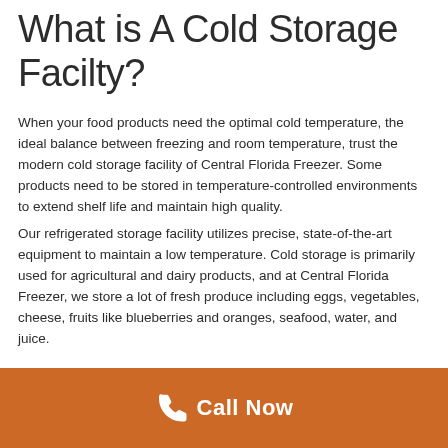What is A Cold Storage Facilty?
When your food products need the optimal cold temperature, the ideal balance between freezing and room temperature, trust the modern cold storage facility of Central Florida Freezer. Some products need to be stored in temperature-controlled environments to extend shelf life and maintain high quality.
Our refrigerated storage facility utilizes precise, state-of-the-art equipment to maintain a low temperature. Cold storage is primarily used for agricultural and dairy products, and at Central Florida Freezer, we store a lot of fresh produce including eggs, vegetables, cheese, fruits like blueberries and oranges, seafood, water, and juice.
Benefits of a Cold Storage
Call Now